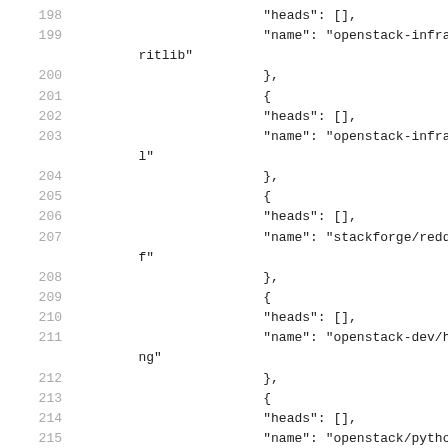198    "heads": [],
199    "name": "openstack-infra/geritlib"
200    },
201    {
202    "heads": [],
203    "name": "openstack-infra/zuul"
204    },
205    {
206    "heads": [],
207    "name": "stackforge/reddwarf"
208    },
209    {
210    "heads": [],
211    "name": "openstack-dev/hacking"
212    },
213    {
214    "heads": [],
215    "name": "openstack/python-he..."